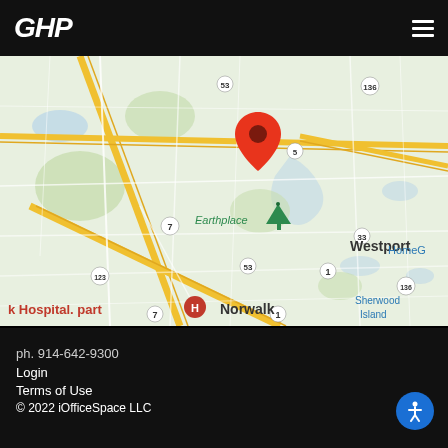GHP
[Figure (map): Google Maps view centered on Westport, CT area showing a red location pin marker, Earthplace label with green tree icon, highway routes 7, 53, 33, 136, 5, 1, 123, areas of Norwalk and Westport labeled, Sherwood Island visible bottom right, 'k Hospital. part' partially visible bottom left, 'HomeG' partially visible right edge]
ph. 914-642-9300
Login
Terms of Use
© 2022 iOfficeSpace LLC